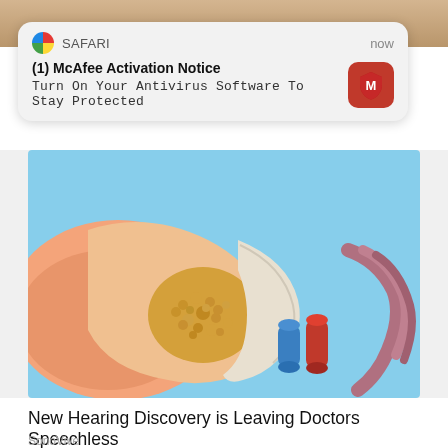[Figure (screenshot): Partial image of a person visible at top of page behind notification]
[Figure (screenshot): Safari browser push notification overlay: '(1) McAfee Activation Notice' with subtitle 'Turn On Your Antivirus Software To Stay Protected', timestamp 'now', and McAfee red logo icon]
[Figure (illustration): Medical illustration of inner ear anatomy showing ear canal, ossicles (blue and red cylindrical bones), cartilage, and ear wax (golden granules) on light blue background]
New Hearing Discovery is Leaving Doctors Speechless
SonoVive
[Figure (photo): Close-up photograph of elderly, wrinkled human hands with visible skin texture and fine hairs]